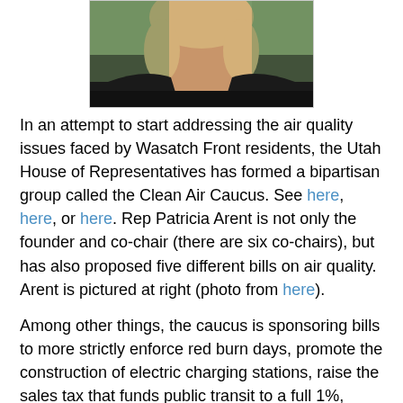[Figure (photo): Photo of Rep. Patricia Arent, a woman with light hair wearing a dark blazer, shown from the shoulders up against an outdoor background.]
In an attempt to start addressing the air quality issues faced by Wasatch Front residents, the Utah House of Representatives has formed a bipartisan group called the Clean Air Caucus. See here, here, or here. Rep Patricia Arent is not only the founder and co-chair (there are six co-chairs), but has also proposed five different bills on air quality. Arent is pictured at right (photo from here).
Among other things, the caucus is sponsoring bills to more strictly enforce red burn days, promote the construction of electric charging stations, raise the sales tax that funds public transit to a full 1%, create a new sustainability coordinator in the governor's office, and/or set aside $200k for a loan/grant program to help citizens move to cleaner vehicles. I'll further detail the bills in a separate post.
The co-chairs of the caucus include: